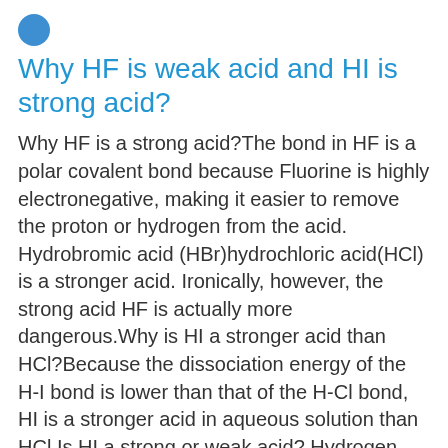Why HF is weak acid and HI is strong acid?
Why HF is a strong acid?The bond in HF is a polar covalent bond because Fluorine is highly electronegative, making it easier to remove the proton or hydrogen from the acid. Hydrobromic acid (HBr)hydrochloric acid(HCl) is a stronger acid. Ironically, however, the strong acid HF is actually more dangerous.Why is HI a stronger acid than HCl?Because the dissociation energy of the H-I bond is lower than that of the H-Cl bond, HI is a stronger acid in aqueous solution than HCl.Is HI a strong or weak acid? Hydrogen iodide, also known as hydroiodic acid, can readily lose its proton, making it a strong acid.Why is HF a stronger acid than HCl?Because HF has a smaller atomic radius than HCl, the HCl bond is more easily